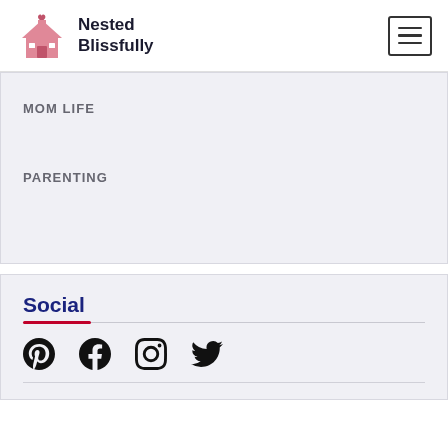Nested Blissfully
MOM LIFE
PARENTING
Social
[Figure (other): Social media icons: Pinterest, Facebook, Instagram, Twitter]